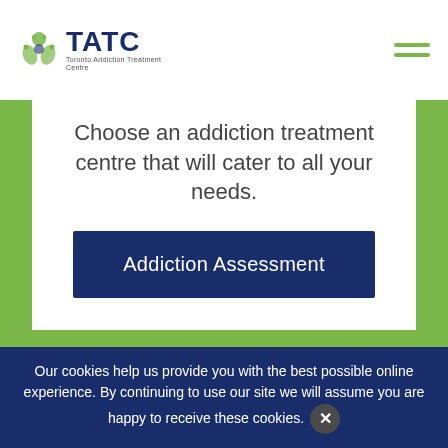[Figure (logo): TATC logo with leaf/person icon and text 'TATC' in navy blue, with tagline below]
Choose an addiction treatment centre that will cater to all your needs.
Addiction Assessment
Safety of Methadone
Our cookies help us provide you with the best possible online experience. By continuing to use our site we will assume you are happy to receive these cookies.